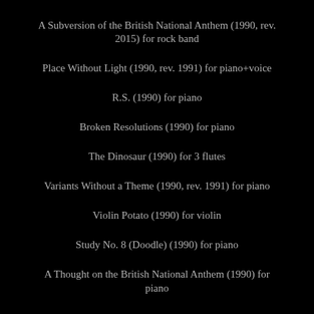A Subversion of the British National Anthem (1990, rev. 2015) for rock band
Place Without Light (1990, rev. 1991) for piano+voice
R.S. (1990) for piano
Broken Resolutions (1990) for piano
The Dinosaur (1990) for 3 flutes
Variants Without a Theme (1990, rev. 1991) for piano
Violin Potato (1990) for violin
Study No. 8 (Doodle) (1990) for piano
A Thought on the British National Anthem (1990) for piano